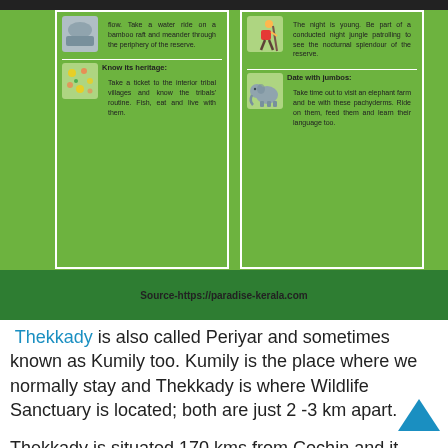[Figure (infographic): Green infographic panel with two columns showing activities: left column - water ride on bamboo raft, know its heritage/tribal villages; right column - night jungle patrolling, date with jumbos/elephant farm. Dark green source bar at bottom.]
Thekkady is also called Periyar and sometimes known as Kumily too. Kumily is the place where we normally stay and Thekkady is where Wildlife Sanctuary is located; both are just 2 -3 km apart.
Thekkady is situated 170 kms from Cochin and it takes approximately 5 hours to reach there. For most of the